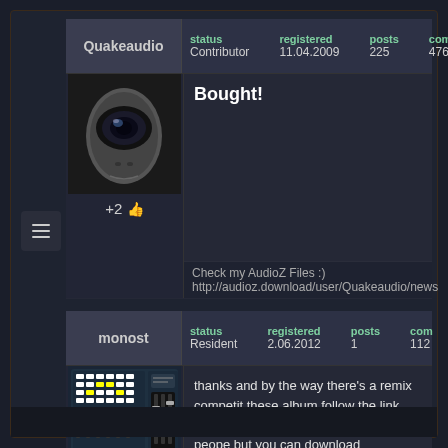Quakeaudio | status: Contributor | registered: 11.04.2009 | posts: 225 | com: 476
Bought!
+2
Check my AudioZ Files :)
http://audioz.download/user/Quakeaudio/news
monost | status: Resident | registered: 2.06.2012 | posts: 1 | com: 112
thanks and by the way there's a remix competit these album follow the link http://remix.slolight.c soon. only for UK peope but you can download
+1